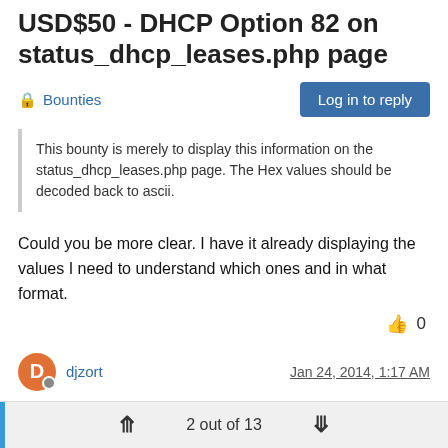USD$50 - DHCP Option 82 on status_dhcp_leases.php page
Bounties
Log in to reply
This bounty is merely to display this information on the status_dhcp_leases.php page. The Hex values should be decoded back to ascii.
Could you be more clear. I have it already displaying the values I need to understand which ones and in what format.
👍 0
djzort
Jan 24, 2014, 1:17 AM
agent.circuit-id is the "port" that the dhcp client is attached to. the hover-over tip should explain that. it would probably be most useful to convert from hex to int and display with slashes or dashes or
2 out of 13